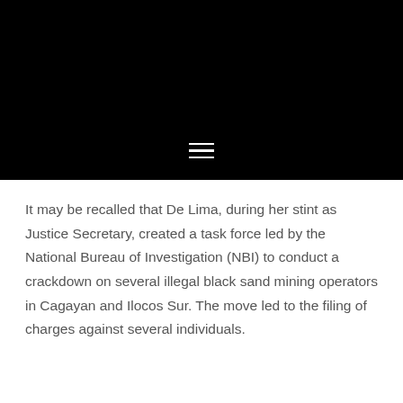[Figure (other): Black header bar with hamburger menu icon (three horizontal white lines) centered at the bottom of the bar]
It may be recalled that De Lima, during her stint as Justice Secretary, created a task force led by the National Bureau of Investigation (NBI) to conduct a crackdown on several illegal black sand mining operators in Cagayan and Ilocos Sur. The move led to the filing of charges against several individuals.